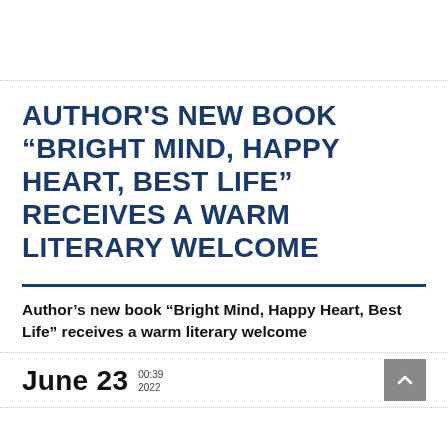AUTHOR'S NEW BOOK “BRIGHT MIND, HAPPY HEART, BEST LIFE” RECEIVES A WARM LITERARY WELCOME
Author’s new book “Bright Mind, Happy Heart, Best Life” receives a warm literary welcome
June 23  00:39  2022